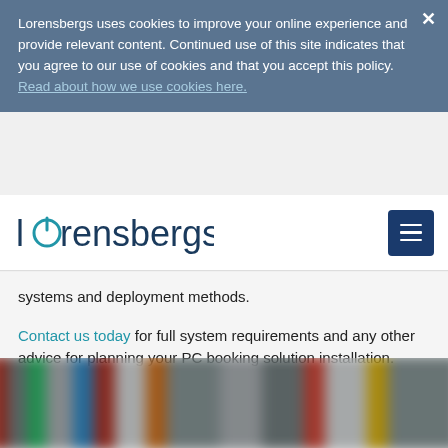Lorensbergs uses cookies to improve your online experience and provide relevant content. Continued use of this site indicates that you agree to our use of cookies and that you accept this policy. Read about how we use cookies here.
[Figure (logo): Lorensbergs logo with power-button style 'o' icon and hamburger menu button]
systems and deployment methods.
Contact us today for full system requirements and any other advice for planning your PC booking solution installation.
[Figure (photo): Blurred photo of library bookshelves with colorful book spines]